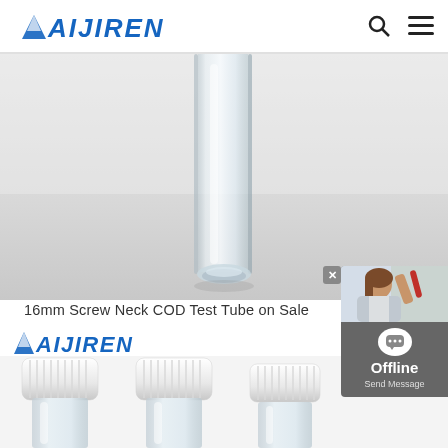AIJIREN
[Figure (photo): Close-up photo of a clear glass COD test tube with screw neck, shown against a white/light gray background. The tube is transparent with a rounded bottom, centered in the frame.]
16mm Screw Neck COD Test Tube on Sale
[Figure (logo): AIJIREN logo in blue italic font]
[Figure (photo): Three clear glass vials with white screw caps arranged side by side, viewed from slightly above. The vials have white ribbed plastic caps.]
[Figure (infographic): Offline chat widget showing a female laboratory technician photo, speech bubble icon, 'Offline' text and 'Send Message' button on a dark gray background. A close (X) button appears at top left of widget.]